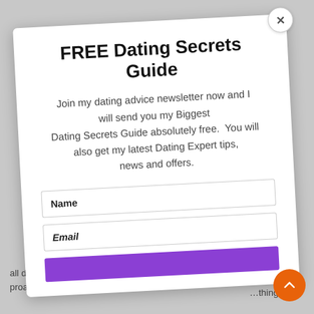FREE Dating Secrets Guide
Join my dating advice newsletter now and I will send you my Biggest Dating Secrets Guide absolutely free.  You will also get my latest Dating Expert tips, news and offers.
Name
Email
hard to
hey work
all day and are t… …thing
proactive.